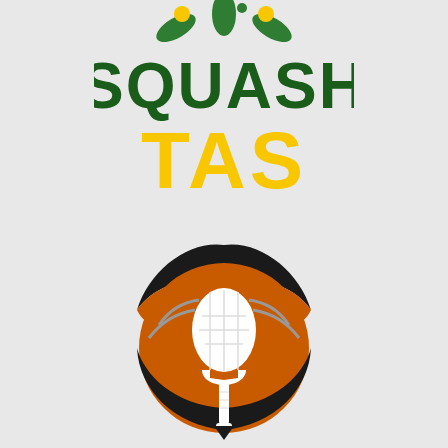[Figure (logo): Squash Tasmania (Squash TAS) logo featuring green and yellow text with decorative green and yellow leaf/ball motifs above]
[Figure (logo): Squash racquet trophy/award logo: an orange and black circular emblem with a white squash racquet silhouette in the center, surrounded by stylized black wing-like shapes]